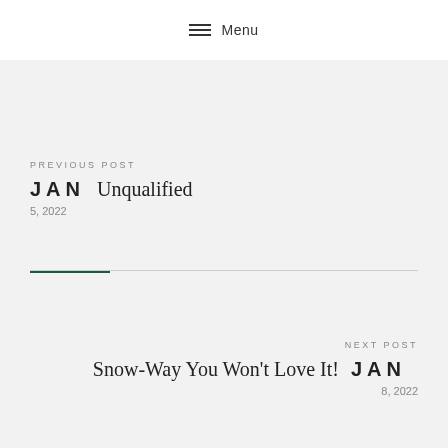Menu
PREVIOUS POST
JAN Unqualified
5, 2022
NEXT POST
Snow-Way You Won't Love It! JAN
8, 2022